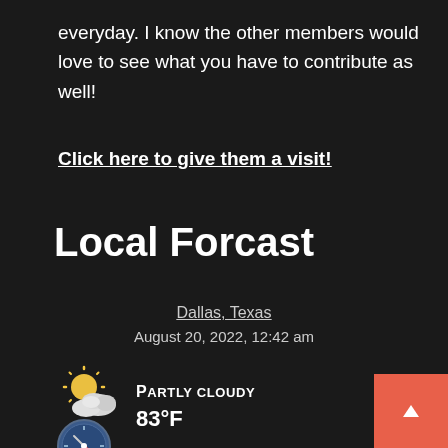everyday. I know the other members would love to see what you have to contribute as well!
Click here to give them a visit!
Local Forcast
Dallas, Texas
August 20, 2022, 12:42 am
[Figure (illustration): Partly cloudy weather icon - sun partially behind clouds]
PARTLY CLOUDY
83°F
[Figure (illustration): Wind speed compass/gauge icon]
6 m/s
real feel: 85°F
current pressure: 30 in